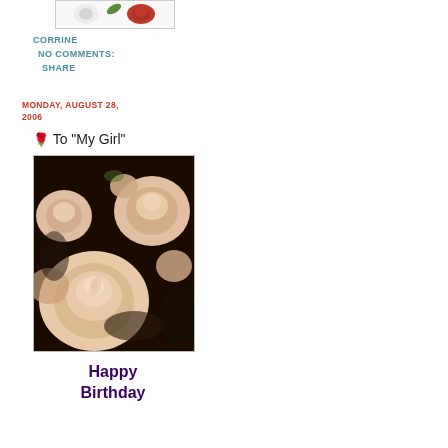[Figure (photo): Small image of a rose stem with a red rose bud, white flower and green leaves on white background]
CORRINE
NO COMMENTS:
SHARE
MONDAY, AUGUST 28, 2006
🌹 To "My Girl"
[Figure (photo): Close-up photograph of a bouquet of cream/peach colored roses with dark background]
Happy Birthday